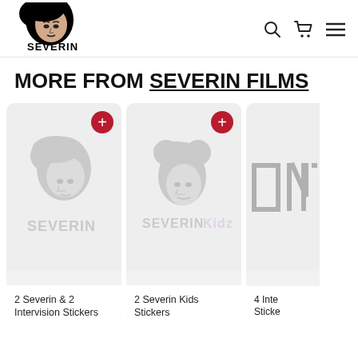[Figure (logo): Severin Films logo — stylized woman's head in black with text SEVERIN below]
[Figure (screenshot): Navigation icons: search (magnifying glass), shopping cart, hamburger menu]
MORE FROM SEVERIN FILMS
[Figure (photo): Product card: Severin Films watermark logo on light grey background, with red + button]
2 Severin & 2 Intervision Stickers
[Figure (photo): Product card: Severin Kids watermark logo on light grey background, with red + button]
2 Severin Kids Stickers
[Figure (photo): Partial product card cut off on right edge: INTI logo visible on grey background]
4 Inte Sticke